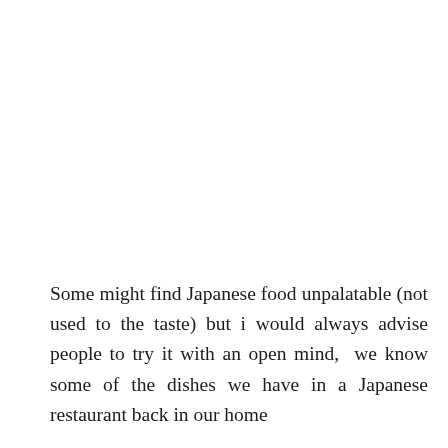Some might find Japanese food unpalatable (not used to the taste) but i would always advise people to try it with an open mind,  we know some of the dishes we have in a Japanese restaurant back in our home